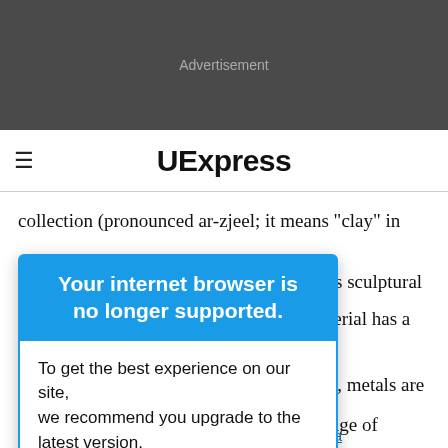[Figure (other): Dark gray advertisement banner area with 'Advertisement' label in light gray text]
≡  UExpress
collection (pronounced ar-zjeel; it means "clay" in French) adds a raised textural pattern to its sculptural
material has a
[Figure (screenshot): Browser support popup overlay with blue header reading 'Your internet browser is no longer supported.' and white body text reading 'To get the best experience on our site, we recommend you upgrade to the latest version.']
sin, metals are
range of
adding shapes Thompson Traders new Quintana